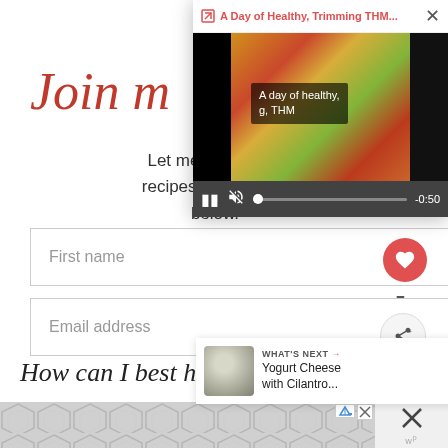Join m
Let me help you d recipes, tips, encou below.
[Figure (screenshot): Video popup overlay showing 'A Day of Healthy, Trimming THM...' with food video thumbnail, subtitle 'A day of healthy, g, THM', playback controls showing -0:50 remaining]
First name
Email address
How can I best help you?
[Figure (other): Advertisement banner with geometric hexagon pattern in gray, close button with X, and brand icon]